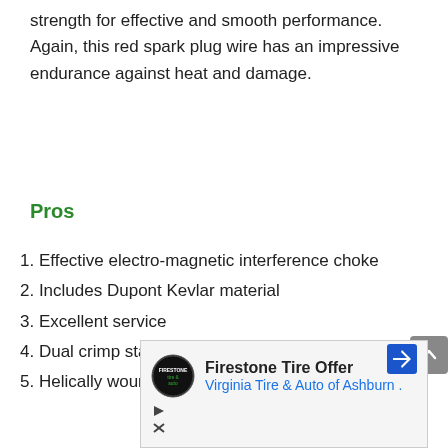strength for effective and smooth performance. Again, this red spark plug wire has an impressive endurance against heat and damage.
Pros
1. Effective electro-magnetic interference choke
2. Includes Dupont Kevlar material
3. Excellent service
4. Dual crimp stainless steel terminals
5. Helically wound wire
[Figure (screenshot): Advertisement for Firestone Tire Offer by Virginia Tire & Auto of Ashburn, with logo and navigation arrow icon]